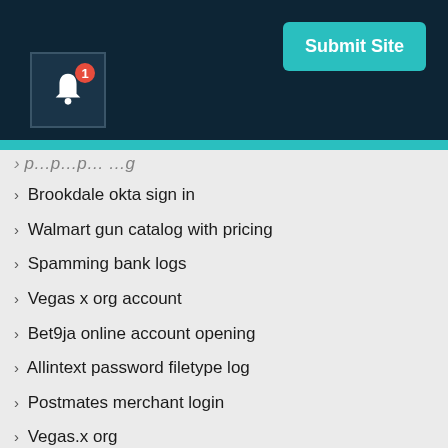[Figure (screenshot): Dark navy header bar with a green 'Submit Site' button in the top right and a bell notification icon with badge '1' in the bottom left]
Brookdale okta sign in
Walmart gun catalog with pricing
Spamming bank logs
Vegas x org account
Bet9ja online account opening
Allintext password filetype log
Postmates merchant login
Vegas.x org
Hack a fb account with feebhax web
Workday bon secours mercy health log in
Myinsuranceservicing log in
Rm777.net
Iptv smarters username password url